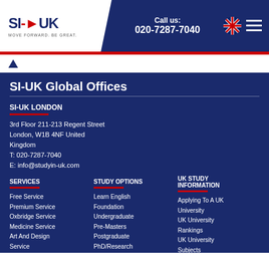Call us: 020-7287-7040
SI-UK Global Offices
SI-UK LONDON
3rd Floor 211-213 Regent Street
London, W1B 4NF United Kingdom
T: 020-7287-7040
E: info@studyin-uk.com
SERVICES
Free Service
Premium Service
Oxbridge Service
Medicine Service
Art And Design Service
Phd Service
STUDY OPTIONS
Learn English
Foundation
Undergraduate
Pre-Masters
Postgraduate
PhD/Research
UK STUDY INFORMATION
Applying To A UK University
UK University Rankings
UK University Subjects
UK University Scholarships